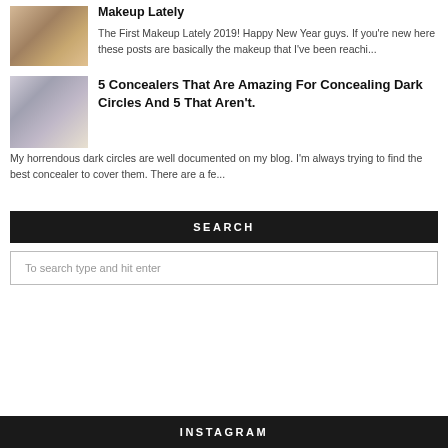[Figure (photo): Makeup products photo - thumbnail image showing cosmetics]
Makeup Lately
The First Makeup Lately 2019! Happy New Year guys. If you're new here these posts are basically the makeup that I've been reachi...
[Figure (photo): Concealer products photo - thumbnail image showing makeup items on white background]
5 Concealers That Are Amazing For Concealing Dark Circles And 5 That Aren't.
My horrendous dark circles are well documented on my blog. I'm always trying to find the best concealer to cover them. There are a fe...
SEARCH
To search type and hit enter
INSTAGRAM